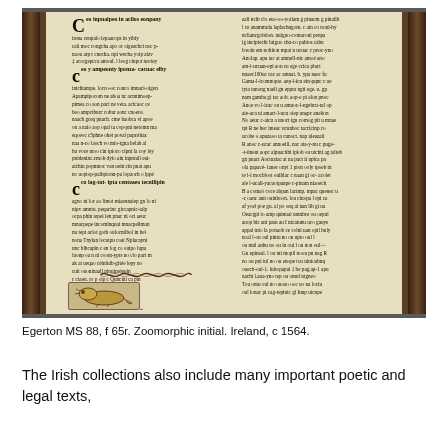[Figure (photo): Photograph of a medieval Irish manuscript page (Egerton MS 88, f 65r) showing two columns of medieval Irish script in dark ink on yellowed parchment, with a zoomorphic decorated initial and ornamental knotwork at the bottom. The manuscript is open and photographed against a dark background, showing the binding edges.]
Egerton MS 88, f 65r. Zoomorphic initial. Ireland, c 1564.
The Irish collections also include many important poetic and legal texts,